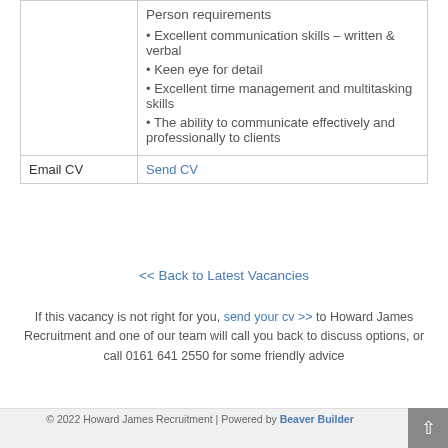|  | Person requirements
• Excellent communication skills – written & verbal
• Keen eye for detail
• Excellent time management and multitasking skills
• The ability to communicate effectively and professionally to clients |
| Email CV | Send CV |
<< Back to Latest Vacancies
If this vacancy is not right for you, send your cv >> to Howard James Recruitment and one of our team will call you back to discuss options, or call 0161 641 2550 for some friendly advice
© 2022 Howard James Recruitment | Powered by Beaver Builder